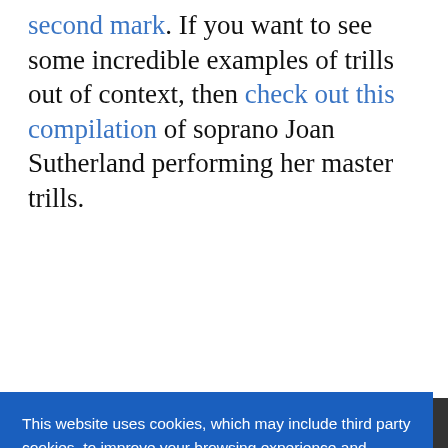second mark. If you want to see some incredible examples of trills out of context, then check out this compilation of soprano Joan Sutherland performing her master trills.
[Figure (screenshot): Video thumbnail for 'Lucia di Lammermoor' Moving Moment featuring soprano, with partial view of performer]
This website uses cookies, which may include third party cookies, to improve your browsing experience and deliver personalized content. To find out more read our Privacy Policy
Got it!
[Figure (screenshot): Video thumbnail at bottom of page]